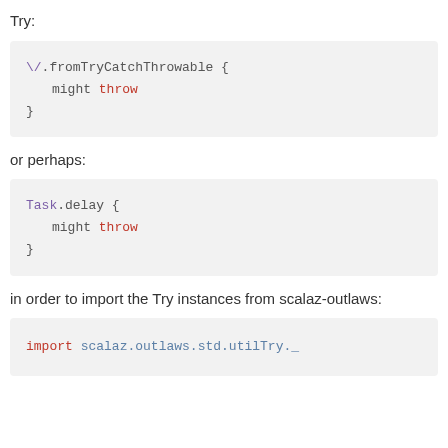Try:
/.fromTryCatchThrowable {
    might throw
}
or perhaps:
Task.delay {
    might throw
}
in order to import the Try instances from scalaz-outlaws:
import scalaz.outlaws.std.utilTry._